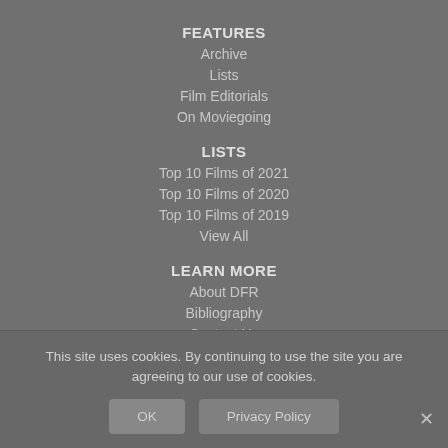FEATURES
Archive
Lists
Film Editorials
On Moviegoing
LISTS
Top 10 Films of 2021
Top 10 Films of 2020
Top 10 Films of 2019
View All
LEARN MORE
About DFR
Bibliography
Contact Us
Privacy Policy
This site uses cookies. By continuing to use the site you are agreeing to our use of cookies.
OK
Privacy Policy